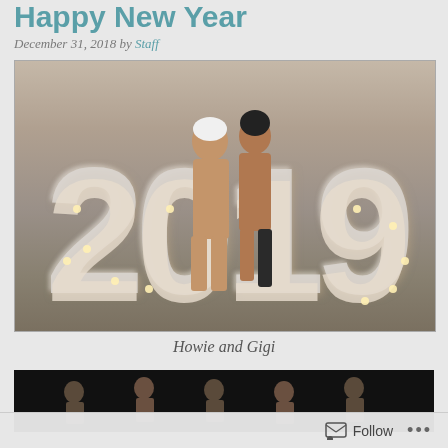Happy New Year
December 31, 2018 by Staff
[Figure (illustration): 3D rendered illustration of two figures standing in front of large illuminated '2019' marquee letters in a room setting]
Howie and Gigi
[Figure (photo): Dark image showing multiple figures]
Follow ...